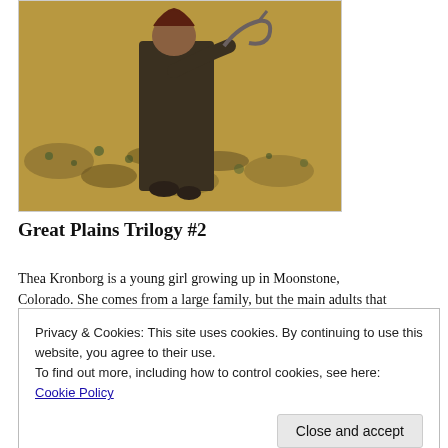[Figure (photo): A person in dark clothing holding a sickle/scythe, standing in a field with yellowish-brown ground cover]
Great Plains Trilogy #2
Thea Kronborg is a young girl growing up in Moonstone, Colorado. She comes from a large family, but the main adults that
Privacy & Cookies: This site uses cookies. By continuing to use this website, you agree to their use.
To find out more, including how to control cookies, see here: Cookie Policy
support her in her musical endeavors. Ray Kennedy, Aunt Tillie,